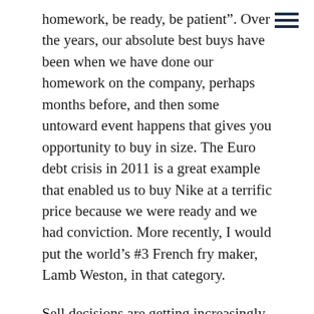homework, be ready, be patient”. Over the years, our absolute best buys have been when we have done our homework on the company, perhaps months before, and then some untoward event happens that gives you opportunity to buy in size. The Euro debt crisis in 2011 is a great example that enabled us to buy Nike at a terrific price because we were ready and we had conviction. More recently, I would put the world’s #3 French fry maker, Lamb Weston, in that category.
Sell decisions are getting increasingly tougher because the quality of our companies just keeps going up, and with their rent cheques (dividends) growing at double-digit rates, our history tells us more often than not that we are better off holding than chasing shiny baubles. That said, new competitors with disruptive technologies